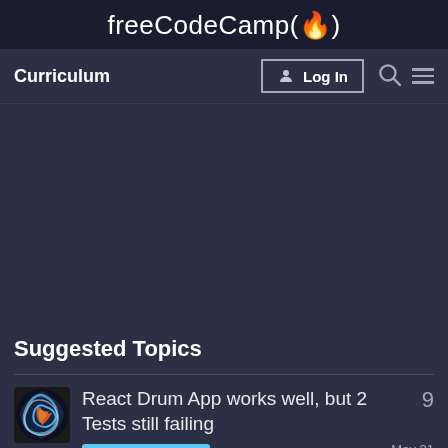freeCodeCamp(🔥)
Curriculum
Log In
Suggested Topics
React Drum App works well, but 2 Tests still failing
Project Feedback
9
May 31